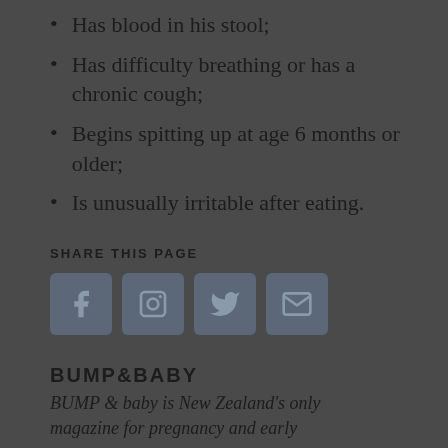Has blood in his stool;
Has difficulty breathing or has a chronic cough;
Begins spitting up at age 6 months or older;
Is unusually irritable after eating.
SHARE THIS PAGE
[Figure (other): Four social media share icons (Facebook and three others) displayed as square buttons]
BUMP&BABY
BUMP & baby is New Zealand's only magazine for pregnancy and early